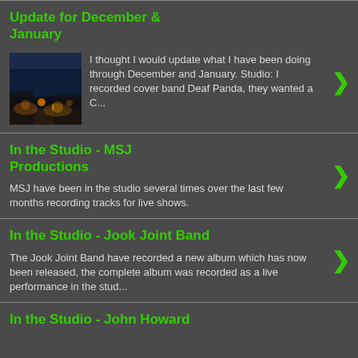Update for December & January
[Figure (photo): Thumbnail photo showing outdoor night scene with warm lighting]
I thought I would update what I have been doing through December and January. Studio: I recorded cover band Deaf Panda, they wanted a C...
In the Studio - MSJ Productions
MSJ have been in the studio several times over the last few months recording tracks for live shows.
In the Studio - Jook Joint Band
The Jook Joint Band have recorded a new album which has now been released, the complete album was recorded as a live performance in the stud...
In the Studio - John Howard